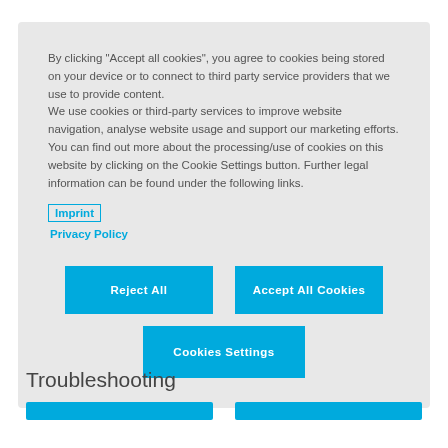By clicking "Accept all cookies", you agree to cookies being stored on your device or to connect to third party service providers that we use to provide content.
We use cookies or third-party services to improve website navigation, analyse website usage and support our marketing efforts.
You can find out more about the processing/use of cookies on this website by clicking on the Cookie Settings button. Further legal information can be found under the following links.
Imprint
Privacy Policy
Reject All
Accept All Cookies
Cookies Settings
Troubleshooting